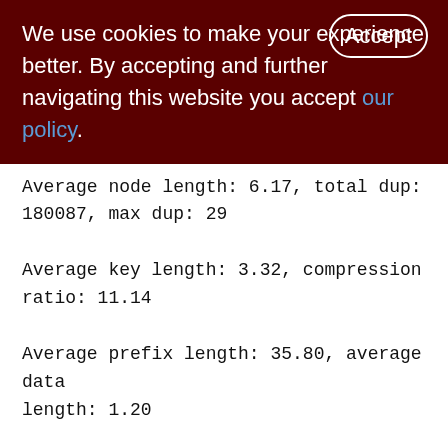We use cookies to make your experience better. By accepting and further navigating this website you accept our policy.
Average node length: 6.17, total dup: 180087, max dup: 29
Average key length: 3.32, compression ratio: 11.14
Average prefix length: 35.80, average data length: 1.20
Clustering factor: 32483, ratio: 0.16
Fill distribution:
0 - 19% = 155
20 - 39% = 198
40 - 59% = 202
60 - 79% = 0
80 - 99% = 0